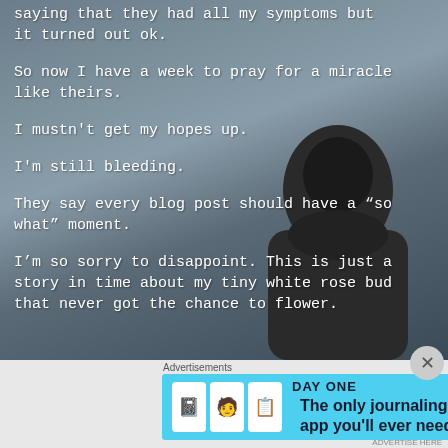saying that they had all my symptoms but it turned out ok.
So now I have a week to pray for a miracle like theirs.
I mustn't get my hopes up.
I'm still bleeding.
They say every blog post should have a “so what” moment.
I’m so sorry to disappoint. This is just a story in time about my tiny white rose bud that never got the chance to flower.
[Figure (advertisement): Day One journaling app advertisement banner with blue background, app icons, and text 'The only journaling app you'll ever need.']